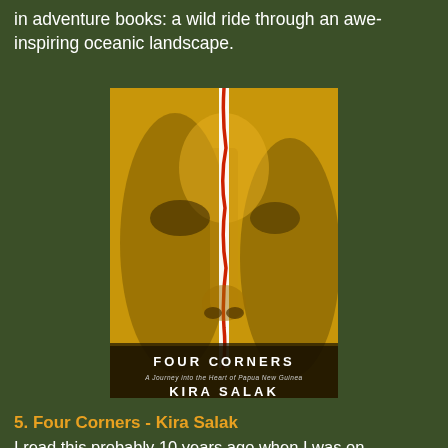in adventure books: a wild ride through an awe-inspiring oceanic landscape.
[Figure (photo): Book cover of 'Four Corners: A Journey into the Heart of Papua New Guinea' by Kira Salak, showing a close-up of a face painted yellow with a vertical white and red stripe down the center.]
5. Four Corners - Kira Salak
I read this probably 10 years ago when I was on assignment in Cape York, that jungled finger of land that points north and almost touches Australia's nearest neighbour. And it has stayed in my mind since then, for the brutal beauty of Salak's writing and her courage in crossing the neck of Papua New Guinea from south to north, a young American woman alone, often travelling in a dugout with a machete across her lap,